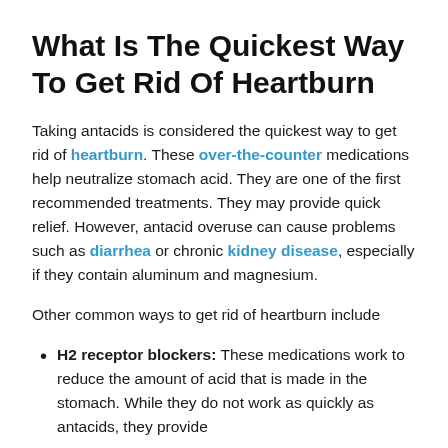What Is The Quickest Way To Get Rid Of Heartburn
Taking antacids is considered the quickest way to get rid of heartburn. These over-the-counter medications help neutralize stomach acid. They are one of the first recommended treatments. They may provide quick relief. However, antacid overuse can cause problems such as diarrhea or chronic kidney disease, especially if they contain aluminum and magnesium.
Other common ways to get rid of heartburn include
H2 receptor blockers: These medications work to reduce the amount of acid that is made in the stomach. While they do not work as quickly as antacids, they provide